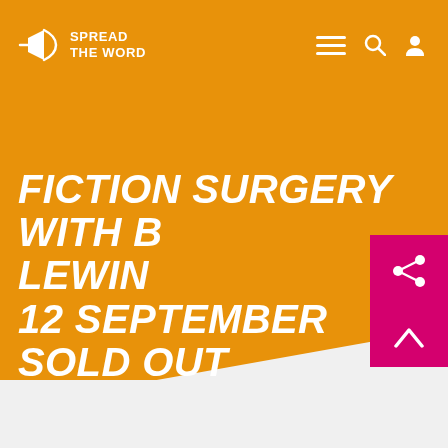Spread the Word
FICTION SURGERY WITH B... LEWIN
12 SEPTEMBER SOLD OUT